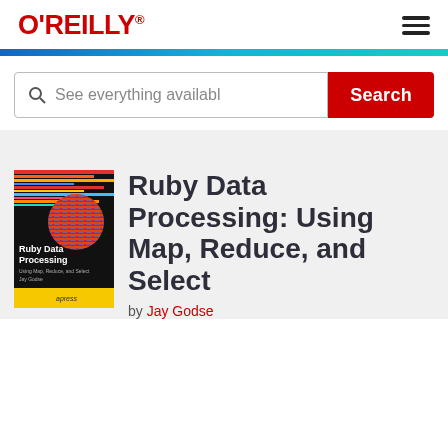[Figure (logo): O'Reilly logo in red bold text with registered trademark symbol]
[Figure (illustration): Hamburger menu icon (three horizontal lines)]
[Figure (illustration): Horizontal gradient color bar from blue to teal]
See everything availabl
Search
[Figure (illustration): Book cover for Ruby Data Processing: Using Map, Reduce, and Select by Jay Godse, published by Apress. Dark background with colorful horizontal lines and a circular graphic.]
Ruby Data Processing: Using Map, Reduce, and Select
by Jay Godse